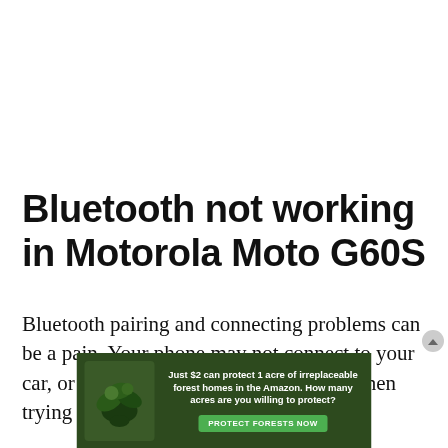Bluetooth not working in Motorola Moto G60S
Bluetooth pairing and connecting problems can be a pain. Your phone may not connect to your car, or you might see an error message when trying to pair with speakers.
[Figure (infographic): Advertisement banner: green rainforest background with leaves, text reading 'Just $2 can protect 1 acre of irreplaceable forest homes in the Amazon. How many acres are you willing to protect?' with a green 'PROTECT FORESTS NOW' button]